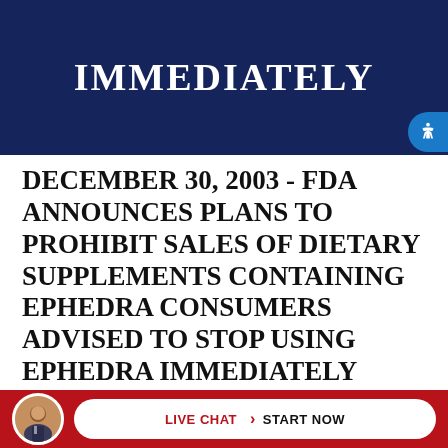[Figure (illustration): Dark navy blue hero banner with background showing blurred emergency vehicles or road scene, with large white bold text reading IMMEDIATELY]
DECEMBER 30, 2003 - FDA ANNOUNCES PLANS TO PROHIBIT SALES OF DIETARY SUPPLEMENTS CONTAINING EPHEDRA CONSUMERS ADVISED TO STOP USING EPHEDRA IMMEDIATELY
On Dec. 30, 2003, FDA issued a consumer alert, advising consumers to immediately stop buying and using
[Figure (infographic): Red footer bar with circular avatar photo of a man in suit and tie, and a white pill-shaped button reading LIVE CHAT (chevron) START NOW]